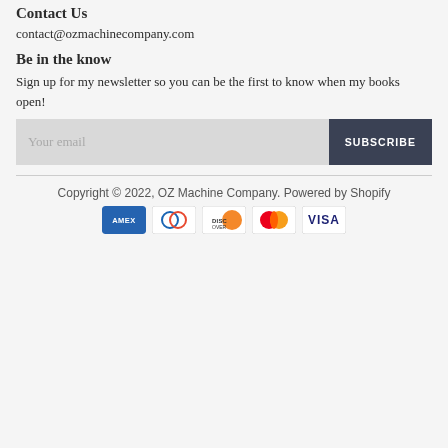Contact Us
contact@ozmachinecompany.com
Be in the know
Sign up for my newsletter so you can be the first to know when my books open!
[Figure (other): Email subscription form with 'Your email' input field and 'SUBSCRIBE' button]
Copyright © 2022, OZ Machine Company. Powered by Shopify
[Figure (other): Payment method icons: American Express, Diners Club, Discover, Mastercard, Visa]